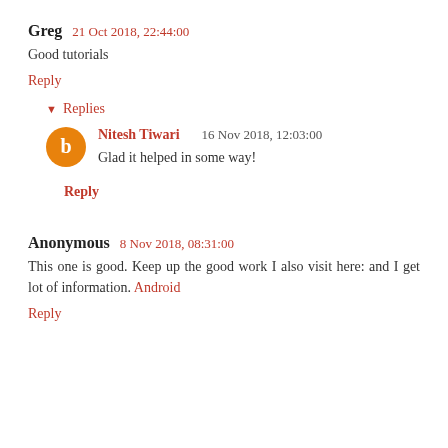Greg  21 Oct 2018, 22:44:00
Good tutorials
Reply
▾ Replies
Nitesh Tiwari    16 Nov 2018, 12:03:00
Glad it helped in some way!
Reply
Anonymous  8 Nov 2018, 08:31:00
This one is good. Keep up the good work I also visit here: and I get lot of information. Android
Reply